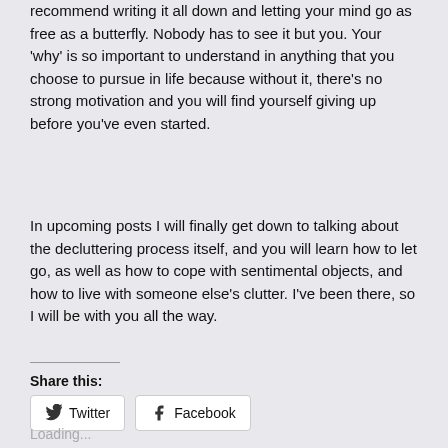recommend writing it all down and letting your mind go as free as a butterfly. Nobody has to see it but you. Your 'why' is so important to understand in anything that you choose to pursue in life because without it, there's no strong motivation and you will find yourself giving up before you've even started.
In upcoming posts I will finally get down to talking about the decluttering process itself, and you will learn how to let go, as well as how to cope with sentimental objects, and how to live with someone else's clutter. I've been there, so I will be with you all the way.
Share this:
Twitter
Facebook
Loading...